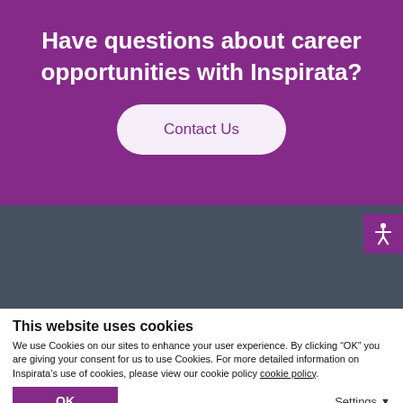Have questions about career opportunities with Inspirata?
Contact Us
[Figure (other): Dark grey footer/navigation bar with an accessibility icon (person with arms outstretched) in a purple square on the top right corner]
This website uses cookies
We use Cookies on our sites to enhance your user experience. By clicking “OK” you are giving your consent for us to use Cookies. For more detailed information on Inspirata’s use of cookies, please view our cookie policy cookie policy.
OK
Settings